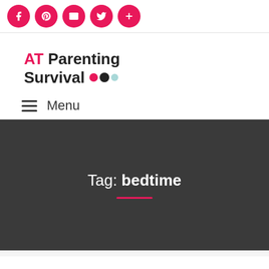Social share icons: Facebook, Pinterest, Email, Twitter, More
AT Parenting Survival
Menu
Tag: bedtime